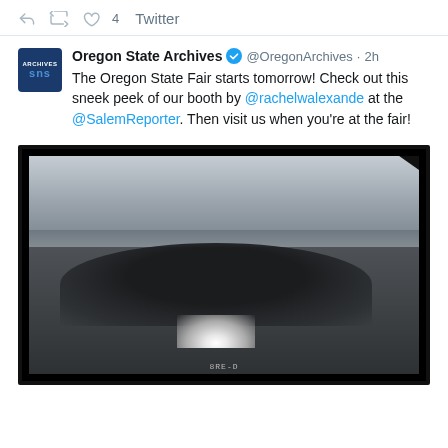Twitter
Oregon State Archives @OregonArchives · 2h
The Oregon State Fair starts tomorrow! Check out this sneek peek of our booth by @rachelwalexande at the @SalemReporter. Then visit us when you're at the fair!
[Figure (photo): Black-and-white photograph (film negative style) showing a group of people sitting around a campfire on a beach at dusk, with ocean waves and sky in the background. Film frame border visible. Text '8RE-D' at bottom.]